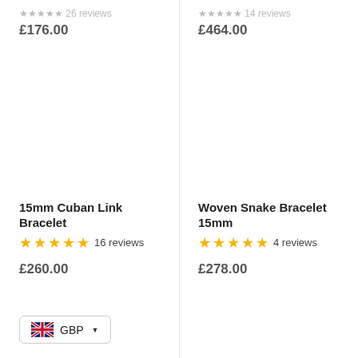£176.00
£464.00
15mm Cuban Link Bracelet
★★★★★ 16 reviews
£260.00
Woven Snake Bracelet 15mm
★★★★★ 4 reviews
£278.00
GBP